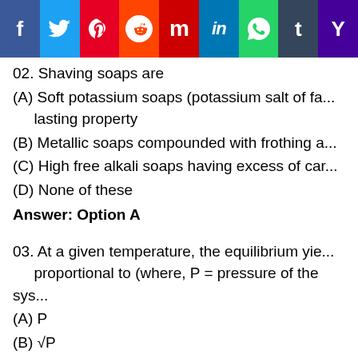[Figure (other): Social media sharing icons bar: Facebook, Twitter, Pinterest, Reddit, Mix, LinkedIn, WhatsApp, Tumblr, Yahoo]
02. Shaving soaps are
(A) Soft potassium soaps (potassium salt of fatty acids) having lather lasting property
(B) Metallic soaps compounded with frothing agents
(C) High free alkali soaps having excess of caustic soda
(D) None of these
Answer: Option A
03. At a given temperature, the equilibrium yield is proportional to (where, P = pressure of the system)
(A) P
(B) √P
(C) P2
(D) 1/P
Answer: Option B